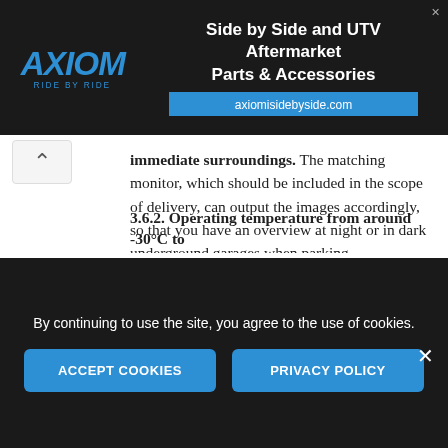[Figure (screenshot): Axiom 'Side by Side and UTV Aftermarket Parts & Accessories' advertisement banner with logo and axiomisidebyside.com URL]
immediate surroundings. The matching monitor, which should be included in the scope of delivery, can output the images accordingly, so that you have an overview at night or in dark underground garages when parking.
With regard to the number of light-emitting diodes, the following applies: 6 are the minimum, but 8 LED lights illuminate even better.
3.6.2. Operating temperature from around -30°C to
By continuing to use the site, you agree to the use of cookies.